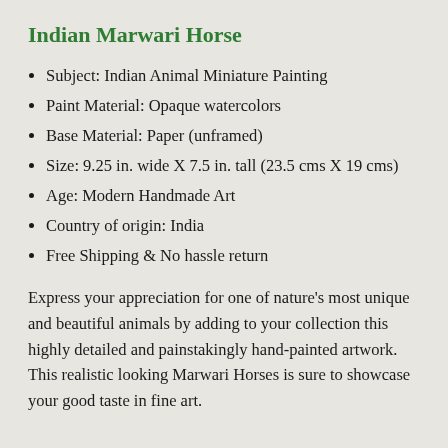Indian Marwari Horse
Subject: Indian Animal Miniature Painting
Paint Material: Opaque watercolors
Base Material: Paper (unframed)
Size: 9.25 in. wide X 7.5 in. tall (23.5 cms X 19 cms)
Age: Modern Handmade Art
Country of origin: India
Free Shipping & No hassle return
Express your appreciation for one of nature's most unique and beautiful animals by adding to your collection this highly detailed and painstakingly hand-painted artwork. This realistic looking Marwari Horses is sure to showcase your good taste in fine art.